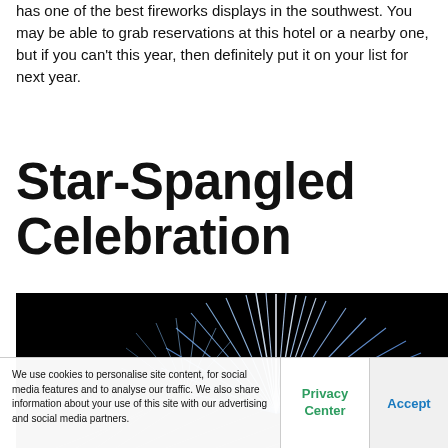has one of the best fireworks displays in the southwest. You may be able to grab reservations at this hotel or a nearby one, but if you can't this year, then definitely put it on your list for next year.
Star-Spangled Celebration
[Figure (photo): Fireworks display with blue and white streaks against a black night sky, with faint white sparkle effects in the lower portion]
We use cookies to personalise site content, for social media features and to analyse our traffic. We also share information about your use of this site with our advertising and social media partners.
Privacy Center
Accept